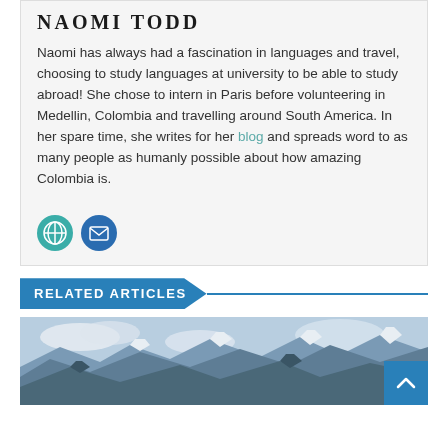NAOMI TODD
Naomi has always had a fascination in languages and travel, choosing to study languages at university to be able to study abroad! She chose to intern in Paris before volunteering in Medellin, Colombia and travelling around South America. In her spare time, she writes for her blog and spreads word to as many people as humanly possible about how amazing Colombia is.
[Figure (infographic): Two circular social media icons: a teal globe icon and a dark blue email/envelope icon]
RELATED ARTICLES
[Figure (photo): Snow-capped mountain peaks with cloudy sky, a travel-related image. A blue 'back to top' arrow button is overlaid in the bottom right corner.]